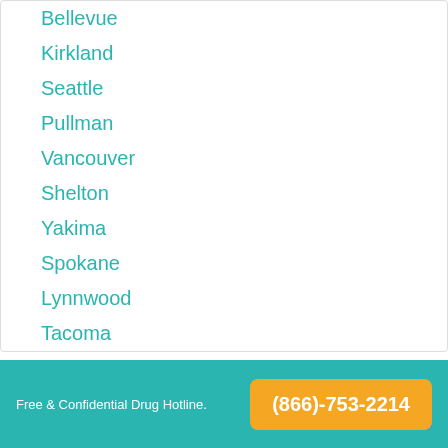Bellevue
Kirkland
Seattle
Pullman
Vancouver
Shelton
Yakima
Spokane
Lynnwood
Tacoma
Free & Confidential Drug Hotline.  (866)-753-2214